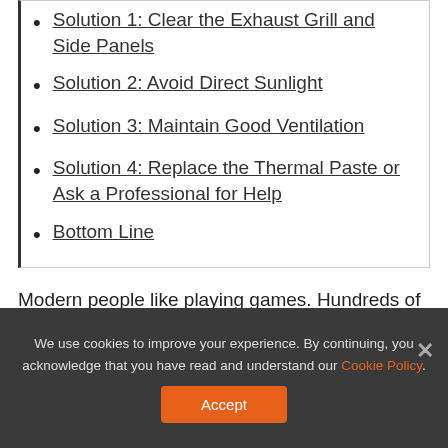Solution 1: Clear the Exhaust Grill and Side Panels
Solution 2: Avoid Direct Sunlight
Solution 3: Maintain Good Ventilation
Solution 4: Replace the Thermal Paste or Ask a Professional for Help
Bottom Line
Modern people like playing games. Hundreds of games are released for both computers and
We use cookies to improve your experience. By continuing, you acknowledge that you have read and understand our Cookie Policy. Accept